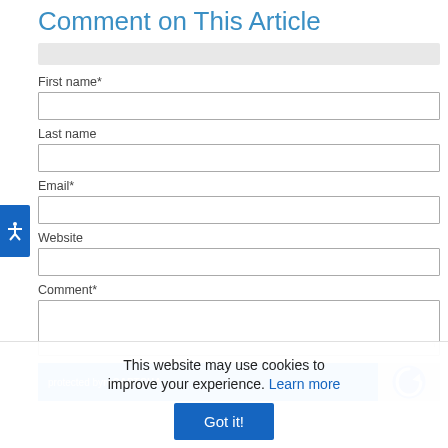Comment on This Article
First name*
Last name
Email*
Website
Comment*
[Figure (other): reCAPTCHA protection widget with blue background showing 'protected by reCAPTCHA' and reCAPTCHA logo]
This website may use cookies to improve your experience. Learn more Got it!